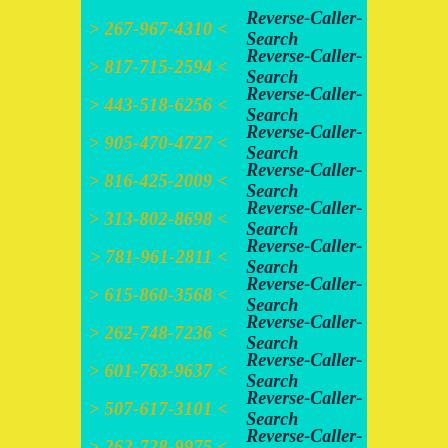> 267-967-4310 < Reverse-Caller-Search
> 817-715-2594 < Reverse-Caller-Search
> 443-518-6256 < Reverse-Caller-Search
> 905-470-4727 < Reverse-Caller-Search
> 816-425-2009 < Reverse-Caller-Search
> 313-802-8698 < Reverse-Caller-Search
> 781-961-2811 < Reverse-Caller-Search
> 615-860-3568 < Reverse-Caller-Search
> 262-748-7236 < Reverse-Caller-Search
> 601-763-9637 < Reverse-Caller-Search
> 507-617-3101 < Reverse-Caller-Search
> 262-728-9975 < Reverse-Caller-Search